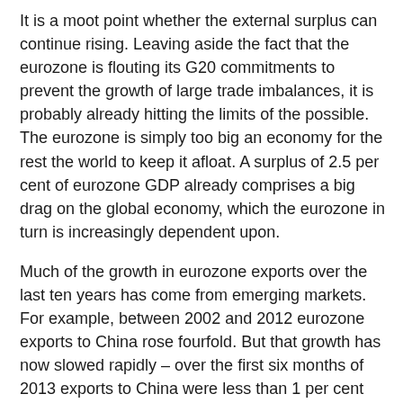It is a moot point whether the external surplus can continue rising. Leaving aside the fact that the eurozone is flouting its G20 commitments to prevent the growth of large trade imbalances, it is probably already hitting the limits of the possible. The eurozone is simply too big an economy for the rest the world to keep it afloat. A surplus of 2.5 per cent of eurozone GDP already comprises a big drag on the global economy, which the eurozone in turn is increasingly dependent upon.
Much of the growth in eurozone exports over the last ten years has come from emerging markets. For example, between 2002 and 2012 eurozone exports to China rose fourfold. But that growth has now slowed rapidly – over the first six months of 2013 exports to China were less than 1 per cent higher than a year earlier. It is a similar story with exports to Latin America and Central and Eastern Europe. The share of the eurozone's total exports